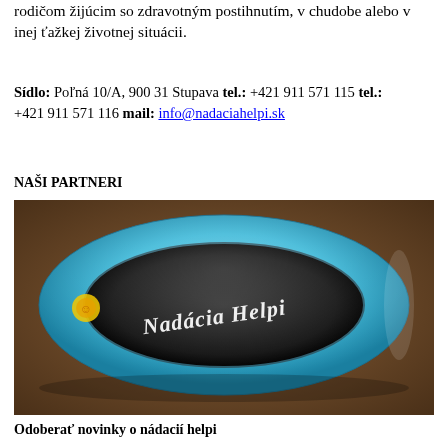rodičom žijúcim so zdravotným postihnutím, v chudobe alebo v inej ťažkej životnej situácii.
Sídlo: Poľná 10/A, 900 31 Stupava tel.: +421 911 571 115 tel.: +421 911 571 116 mail: info@nadaciahelpi.sk
NAŠI PARTNERI
[Figure (photo): A light blue silicone wristband/bracelet with the text 'Nadácia Helpi' and a small logo, photographed on a dark brown surface.]
Odoberať novinky o nádacií helpi